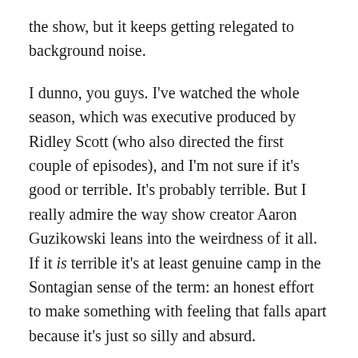the show, but it keeps getting relegated to background noise.
I dunno, you guys. I've watched the whole season, which was executive produced by Ridley Scott (who also directed the first couple of episodes), and I'm not sure if it's good or terrible. It's probably terrible. But I really admire the way show creator Aaron Guzikowski leans into the weirdness of it all. If it is terrible it's at least genuine camp in the Sontagian sense of the term: an honest effort to make something with feeling that falls apart because it's just so silly and absurd.
At the very least, it's captivating: Abubakar Salim does this weirdly interesting thing with his